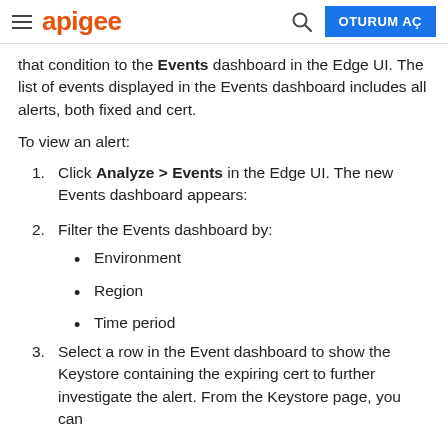apigee | OTURUM AÇ
that condition to the Events dashboard in the Edge UI. The list of events displayed in the Events dashboard includes all alerts, both fixed and cert.
To view an alert:
1. Click Analyze > Events in the Edge UI. The new Events dashboard appears:
2. Filter the Events dashboard by:
Environment
Region
Time period
3. Select a row in the Event dashboard to show the Keystore containing the expiring cert to further investigate the alert. From the Keystore page, you can